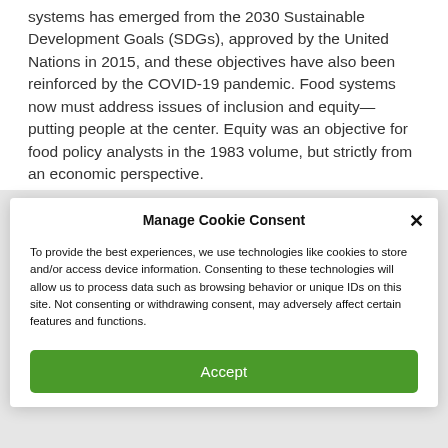systems has emerged from the 2030 Sustainable Development Goals (SDGs), approved by the United Nations in 2015, and these objectives have also been reinforced by the COVID-19 pandemic. Food systems now must address issues of inclusion and equity—putting people at the center. Equity was an objective for food policy analysts in the 1983 volume, but strictly from an economic perspective.
Manage Cookie Consent
To provide the best experiences, we use technologies like cookies to store and/or access device information. Consenting to these technologies will allow us to process data such as browsing behavior or unique IDs on this site. Not consenting or withdrawing consent, may adversely affect certain features and functions.
Accept